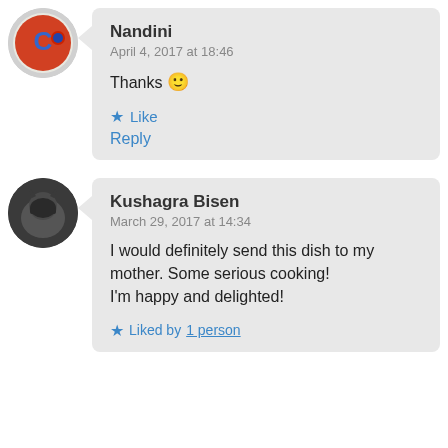Nandini
April 4, 2017 at 18:46
Thanks 🙂
★ Like
Reply
Kushagra Bisen
March 29, 2017 at 14:34
I would definitely send this dish to my mother. Some serious cooking!
I'm happy and delighted!
★ Liked by 1person